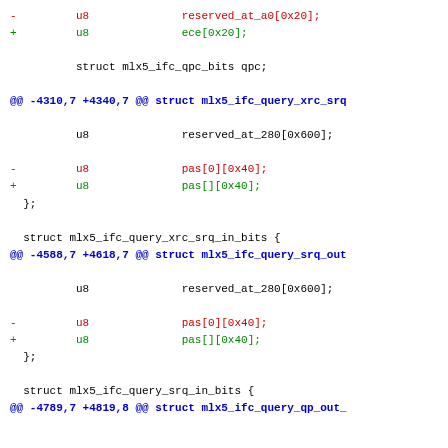- u8 reserved_at_a0[0x20];
+ u8 ece[0x20];

 struct mlx5_ifc_qpc_bits qpc;

@@ -4310,7 +4340,7 @@ struct mlx5_ifc_query_xrc_srq

 u8 reserved_at_280[0x600];

- u8 pas[0][0x40];
+ u8 pas[][0x40];
 };

 struct mlx5_ifc_query_xrc_srq_in_bits {
@@ -4588,7 +4618,7 @@ struct mlx5_ifc_query_srq_out

 u8 reserved_at_280[0x600];

- u8 pas[0][0x40];
+ u8 pas[][0x40];
 };

 struct mlx5_ifc_query_srq_in_bits {
@@ -4789,7 +4819,8 @@ struct mlx5_ifc_query_qp_out_